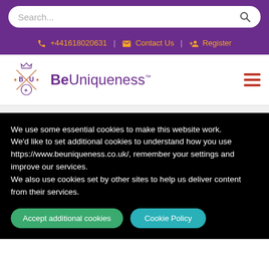Search...
+441618020631 | Contact Us | Register
[Figure (logo): BeUniqueness logo with decorative B·U emblem and purple wordmark]
We use some essential cookies to make this website work.
We'd like to set additional cookies to understand how you use https://www.beuniqueness.co.uk/, remember your settings and improve our services.
We also use cookies set by other sites to help us deliver content from their services.
Accept additional cookies
Cookie Policy